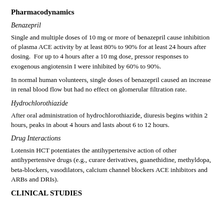Pharmacodynamics
Benazepril
Single and multiple doses of 10 mg or more of benazepril cause inhibition of plasma ACE activity by at least 80% to 90% for at least 24 hours after dosing.  For up to 4 hours after a 10 mg dose, pressor responses to exogenous angiotensin I were inhibited by 60% to 90%.
In normal human volunteers, single doses of benazepril caused an increase in renal blood flow but had no effect on glomerular filtration rate.
Hydrochlorothiazide
After oral administration of hydrochlorothiazide, diuresis begins within 2 hours, peaks in about 4 hours and lasts about 6 to 12 hours.
Drug Interactions
Lotensin HCT potentiates the antihypertensive action of other antihypertensive drugs (e.g., curare derivatives, guanethidine, methyldopa, beta-blockers, vasodilators, calcium channel blockers ACE inhibitors and ARBs and DRIs).
CLINICAL STUDIES